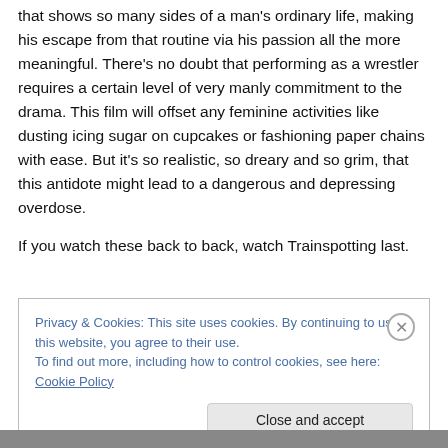that shows so many sides of a man's ordinary life, making his escape from that routine via his passion all the more meaningful. There's no doubt that performing as a wrestler requires a certain level of very manly commitment to the drama. This film will offset any feminine activities like dusting icing sugar on cupcakes or fashioning paper chains with ease. But it's so realistic, so dreary and so grim, that this antidote might lead to a dangerous and depressing overdose.
If you watch these back to back, watch Trainspotting last.
Privacy & Cookies: This site uses cookies. By continuing to use this website, you agree to their use.
To find out more, including how to control cookies, see here: Cookie Policy